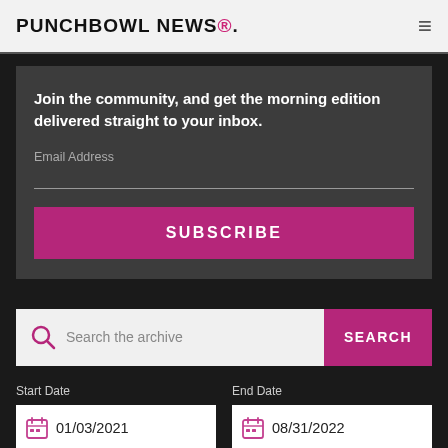PUNCHBOWL NEWS®.
Join the community, and get the morning edition delivered straight to your inbox.
Email Address
SUBSCRIBE
Search the archive
SEARCH
Start Date
01/03/2021
End Date
08/31/2022